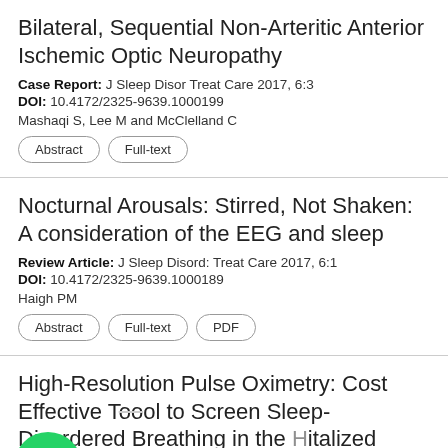Bilateral, Sequential Non-Arteritic Anterior Ischemic Optic Neuropathy
Case Report: J Sleep Disor Treat Care 2017, 6:3
DOI: 10.4172/2325-9639.1000199
Mashaqi S, Lee M and McClelland C
Nocturnal Arousals: Stirred, Not Shaken: A consideration of the EEG and sleep
Review Article: J Sleep Disord: Treat Care 2017, 6:1
DOI: 10.4172/2325-9639.1000189
Haigh PM
High-Resolution Pulse Oximetry: Cost Effective Tool to Screen Sleep-Disordered Breathing in the Hospitalized Patients.
...are 2016, S:1
DOI:
[Figure (screenshot): WhatsApp chat widget overlay with green WhatsApp icon and 'Leave a message +' dark bar at bottom]